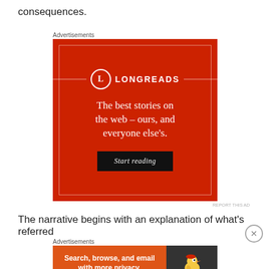consequences.
Advertisements
[Figure (illustration): Longreads advertisement on red background with logo circle containing 'L', the text 'LONGREADS', tagline 'The best stories on the web – ours, and everyone else's.' and a 'Start reading' button]
REPORT THIS AD
The narrative begins with an explanation of what's referred
Advertisements
[Figure (illustration): DuckDuckGo advertisement with orange left panel reading 'Search, browse, and email with more privacy. All in One Free App' and dark right panel with duck logo and DuckDuckGo text]
REPORT THIS AD